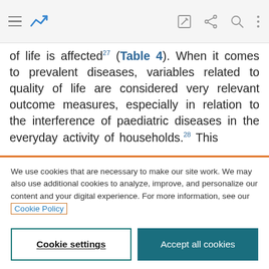Toolbar with hamburger menu, logo/chart icon, edit icon, share icon, search icon, more options icon
of life is affected²⁷ (Table 4). When it comes to prevalent diseases, variables related to quality of life are considered very relevant outcome measures, especially in relation to the interference of paediatric diseases in the everyday activity of households.²⁸ This
We use cookies that are necessary to make our site work. We may also use additional cookies to analyze, improve, and personalize our content and your digital experience. For more information, see our Cookie Policy
Cookie settings
Accept all cookies